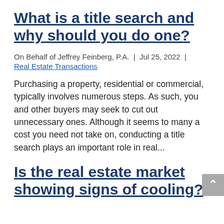What is a title search and why should you do one?
On Behalf of Jeffrey Feinberg, P.A. | Jul 25, 2022 | Real Estate Transactions
Purchasing a property, residential or commercial, typically involves numerous steps. As such, you and other buyers may seek to cut out unnecessary ones. Although it seems to many a cost you need not take on, conducting a title search plays an important role in real...
Is the real estate market showing signs of cooling?